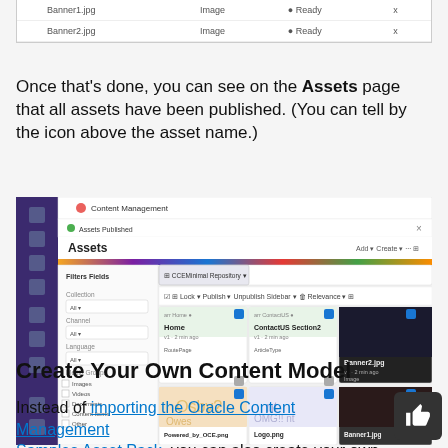|  |  |  |  |
| --- | --- | --- | --- |
| Banner1.jpg | Image | ● Ready | x |
| Banner2.jpg | Image | ● Ready | x |
Once that's done, you can see on the Assets page that all assets have been published. (You can tell by the icon above the asset name.)
[Figure (screenshot): Screenshot of Oracle Content Management Assets page showing published assets including Home, ContactUS Section2, Banner2.jpg, Powered_by_OCE.png, Logo.png, and Banner1.jpg tiles with published status indicators.]
Create Your Own Content Model
Instead of importing the Oracle Content Management Samples Asset Pack, you can also create your own